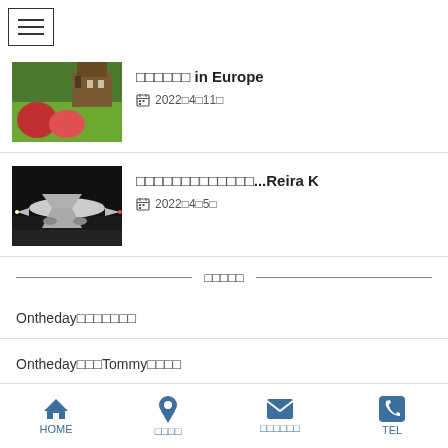≡ (hamburger menu)
□□□□□□ in Europe  2022年4月11日
□□□□□□□□□□□□□...Reira K  2022年4月5日
□□□□□
Ontheday□□□□□□□
Ontheday□□□Tommy□□□□
HOME  □□□□  □□□□□□  TEL